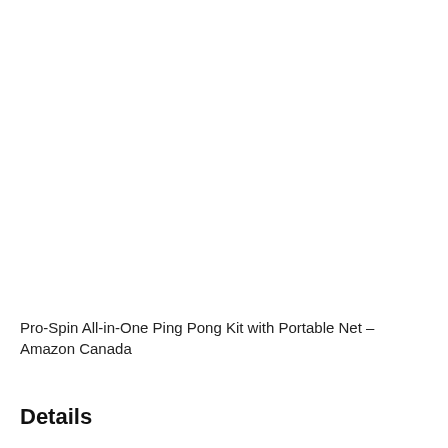Pro-Spin All-in-One Ping Pong Kit with Portable Net – Amazon Canada
Details